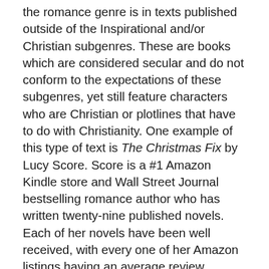the romance genre is in texts published outside of the Inspirational and/or Christian subgenres. These are books which are considered secular and do not conform to the expectations of these subgenres, yet still feature characters who are Christian or plotlines that have to do with Christianity. One example of this type of text is The Christmas Fix by Lucy Score. Score is a #1 Amazon Kindle store and Wall Street Journal bestselling romance author who has written twenty-nine published novels. Each of her novels have been well received, with every one of her Amazon listings having an average review greater than four stars (Score, 2021c). She also has a significant social media presence, with over 48,000 followers between Instagram and Facebook (Score, 2021b; Score, 2021a). The Christmas Fix, like all of Score's works, is part of the contemporary romance subgenre. Religious faith and traditional Christian values are not fundamental